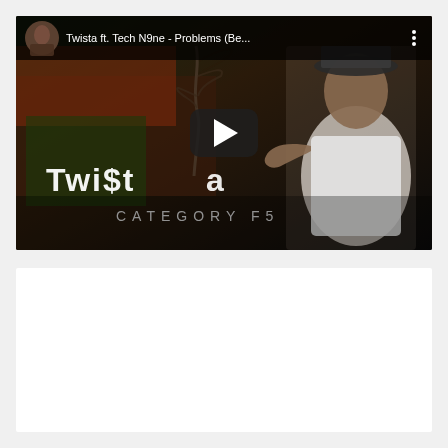[Figure (screenshot): YouTube video embed showing 'Twista ft. Tech N9ne - Problems (Be...)' with album art for 'Twista - Category F5'. The thumbnail shows a rap artist in a white shirt with jewelry and tattoos against a dark stylized background with tree imagery. A play button is visible in the center.]
[Figure (screenshot): White/light gray content area below the YouTube embed, appears to be a comments or description section with no visible text content.]